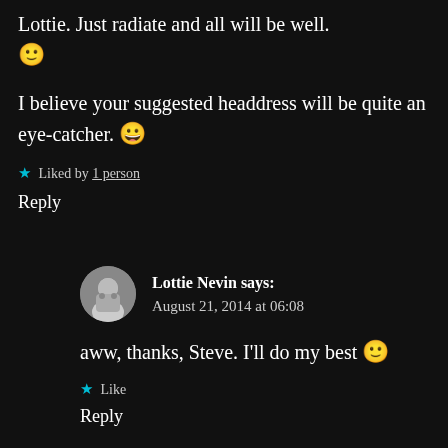Lottie. Just radiate and all will be well. 🙂
I believe your suggested headdress will be quite an eye-catcher. 😀
★ Liked by 1 person
Reply
Lottie Nevin says: August 21, 2014 at 06:08
aww, thanks, Steve. I'll do my best 🙂
★ Like
Reply